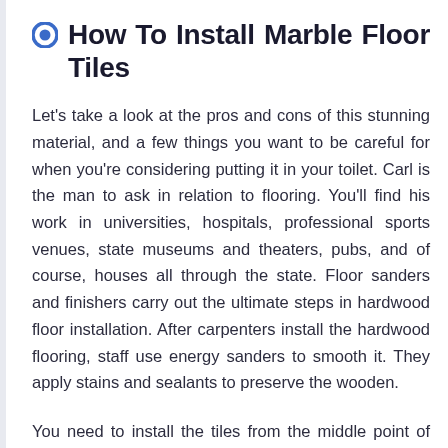How To Install Marble Floor Tiles
Let's take a look at the pros and cons of this stunning material, and a few things you want to be careful for when you're considering putting it in your toilet. Carl is the man to ask in relation to flooring. You'll find his work in universities, hospitals, professional sports venues, state museums and theaters, pubs, and of course, houses all through the state. Floor sanders and finishers carry out the ultimate steps in hardwood floor installation. After carpenters install the hardwood flooring, staff use energy sanders to smooth it. They apply stains and sealants to preserve the wooden.
You need to install the tiles from the middle point of the room in order that they radiate outward as a substitute of abruptly going from one wall to the following. Doing it